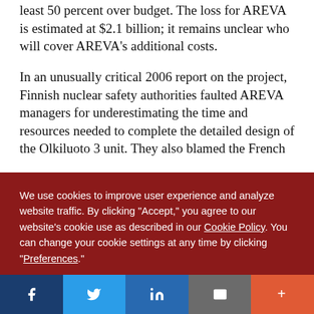least 50 percent over budget. The loss for AREVA is estimated at $2.1 billion; it remains unclear who will cover AREVA's additional costs.
In an unusually critical 2006 report on the project, Finnish nuclear safety authorities faulted AREVA managers for underestimating the time and resources needed to complete the detailed design of the Olkiluoto 3 unit. They also blamed the French
We use cookies to improve user experience and analyze website traffic. By clicking “Accept,” you agree to our website’s cookie use as described in our Cookie Policy. You can change your cookie settings at any time by clicking “Preferences.”
Decline
Accept
Preferences